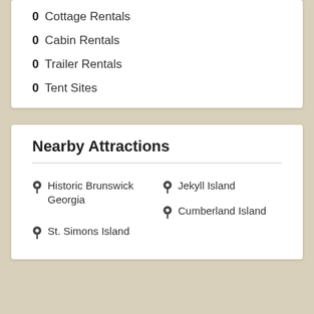0 Cottage Rentals
0 Cabin Rentals
0 Trailer Rentals
0 Tent Sites
Nearby Attractions
Historic Brunswick Georgia
Jekyll Island
Cumberland Island
St. Simons Island